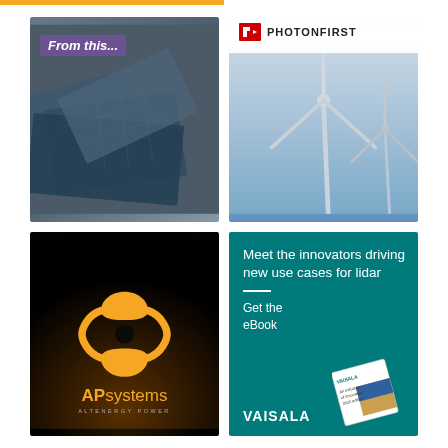[Figure (photo): Scrap solar panels piled up with text overlay 'From this...']
[Figure (photo): Wind turbines in sky with PhotonFirst logo at top]
[Figure (logo): APsystems / AltEnergy Power logo on dark background with orange symbol]
[Figure (infographic): Vaisala teal advertisement: 'Meet the innovators driving new use cases for lidar. Get the eBook.' with book image and Vaisala logo]